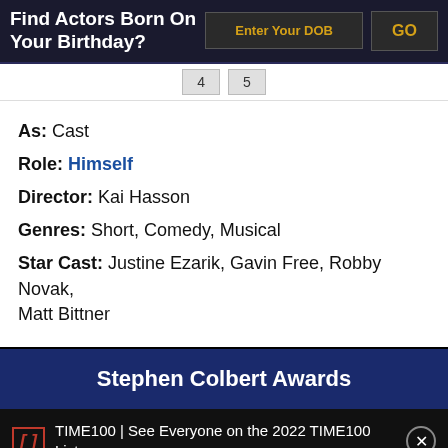Find Actors Born On Your Birthday?
Enter Your DOB
GO
As: Cast
Role: Himself
Director: Kai Hasson
Genres: Short, Comedy, Musical
Star Cast: Justine Ezarik, Gavin Free, Robby Novak, Matt Bittner
Stephen Colbert Awards
TIME100 | See Everyone on the 2022 TIME100 List